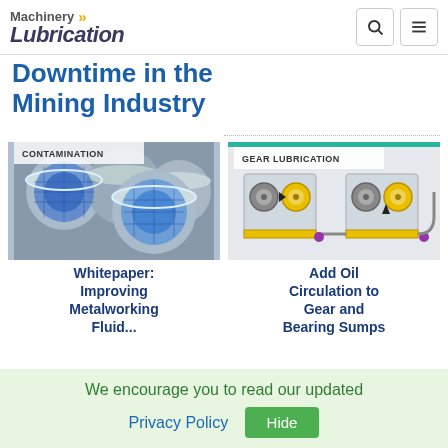Machinery Lubrication
Downtime in the Mining Industry
[Figure (photo): Metal filter containers with blue mesh filters, labeled CONTAMINATION]
Whitepaper: Improving Metalworking Fluid...
[Figure (illustration): Gear lubrication diagram showing gear and bearing sump oil circulation, labeled GEAR LUBRICATION]
Add Oil Circulation to Gear and Bearing Sumps
We encourage you to read our updated Privacy Policy  Hide